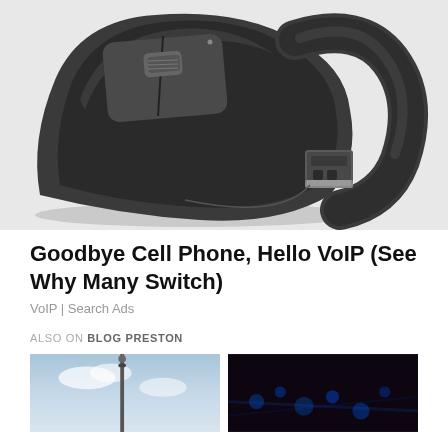[Figure (photo): A black wireless computer mouse with a USB dongle/receiver on a white background. The mouse has a sleek arc design with visible scroll wheel and buttons. The small USB receiver is placed to the right of the mouse.]
Goodbye Cell Phone, Hello VoIP (See Why Many Switch)
VoIP | Search Ads
ALSO ON BLOG PRESTON
[Figure (photo): A thumbnail image showing a pole or antenna against a blue sky with clouds.]
[Figure (photo): A dark thumbnail image with blue lights, possibly a night scene with LED lighting.]